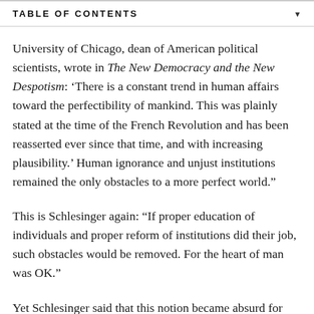TABLE OF CONTENTS
University of Chicago, dean of American political scientists, wrote in The New Democracy and the New Despotism: ‘There is a constant trend in human affairs toward the perfectibility of mankind. This was plainly stated at the time of the French Revolution and has been reasserted ever since that time, and with increasing plausibility.’ Human ignorance and unjust institutions remained the only obstacles to a more perfect world.”
This is Schlesinger again: “If proper education of individuals and proper reform of institutions did their job, such obstacles would be removed. For the heart of man was OK.”
Yet Schlesinger said that this notion became absurd for liberals when they confronted the evils of both Nazism and Stalinism. Schlesinger notes Isaiah Berlin’s famous declaration that the